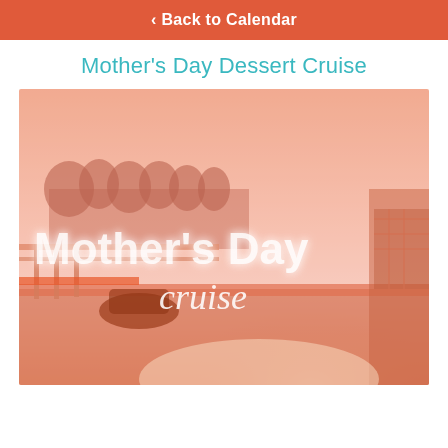< Back to Calendar
Mother's Day Dessert Cruise
[Figure (photo): Promotional photo for Mother's Day Cruise event, showing a boat deck scene with warm orange/pink tones, overlaid with large white text 'Mother's Day cruise']